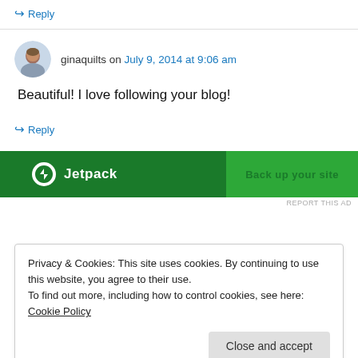↪ Reply
ginaquilts on July 9, 2014 at 9:06 am
Beautiful! I love following your blog!
↪ Reply
[Figure (screenshot): Jetpack advertisement banner with green background showing Jetpack logo and 'Back up your site' text]
REPORT THIS AD
Privacy & Cookies: This site uses cookies. By continuing to use this website, you agree to their use.
To find out more, including how to control cookies, see here: Cookie Policy
Close and accept
Sentimental Stitches and it has several bowl